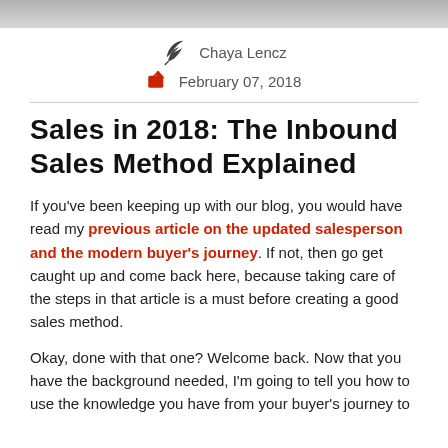Chaya Lencz  February 07, 2018
Sales in 2018: The Inbound Sales Method Explained
If you've been keeping up with our blog, you would have read my previous article on the updated salesperson and the modern buyer's journey. If not, then go get caught up and come back here, because taking care of the steps in that article is a must before creating a good sales method.
Okay, done with that one? Welcome back. Now that you have the background needed, I'm going to tell you how to use the knowledge you have from your buyer's journey to